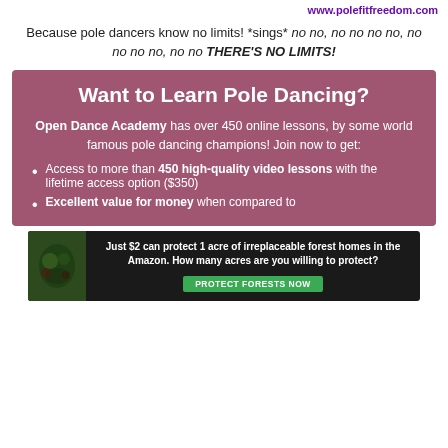www.polefitfreedom.com
Because pole dancers know no limits! *sings* no no, no no no no, no no no no, no no THERE'S NO LIMITS!
Want to Learn Pole Dancing?
Open Dance Academy has over 450 online lessons, by some world famous pole dancing champions! Join now to get:
Access to more than 450 high-quality video lessons with the lifetime access option ($350)
Excellent value for money when compared to
[Figure (other): Amazon forest protection advertisement banner: Just $2 can protect 1 acre of irreplaceable forest homes in the Amazon. How many acres are you willing to protect? Button: PROTECT FORESTS NOW]